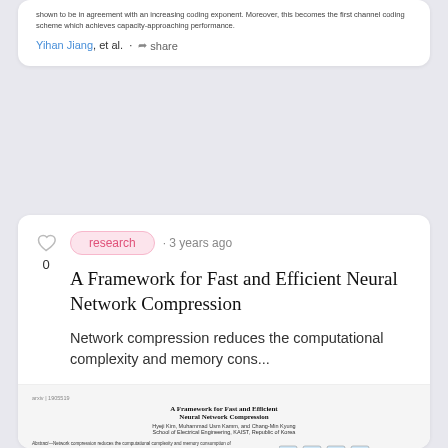shown to be in agreement with an increasing coding exponent. Moreover, this becomes the first channel coding scheme which achieves capacity-approaching performance.
Yihan Jiang, et al. · share
research · 3 years ago
A Framework for Fast and Efficient Neural Network Compression
Network compression reduces the computational complexity and memory cons...
[Figure (screenshot): Thumbnail preview of the paper 'A Framework for Fast and Efficient Neural Network Compression' showing the paper's title, authors, abstract text and a block diagram figure.]